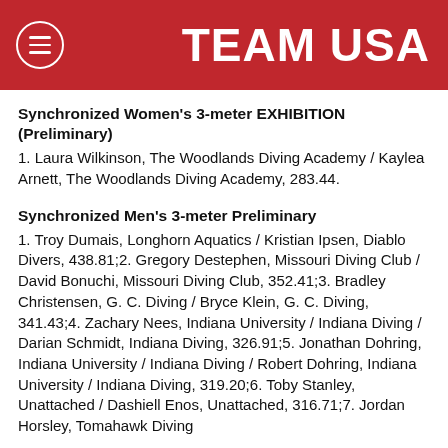TEAM USA
Synchronized Women's 3-meter EXHIBITION (Preliminary)
1. Laura Wilkinson, The Woodlands Diving Academy / Kaylea Arnett, The Woodlands Diving Academy, 283.44.
Synchronized Men's 3-meter Preliminary
1. Troy Dumais, Longhorn Aquatics / Kristian Ipsen, Diablo Divers, 438.81;2. Gregory Destephen, Missouri Diving Club / David Bonuchi, Missouri Diving Club, 352.41;3. Bradley Christensen, G. C. Diving / Bryce Klein, G. C. Diving, 341.43;4. Zachary Nees, Indiana University / Indiana Diving / Darian Schmidt, Indiana Diving, 326.91;5. Jonathan Dohring, Indiana University / Indiana Diving / Robert Dohring, Indiana University / Indiana Diving, 319.20;6. Toby Stanley, Unattached / Dashiell Enos, Unattached, 316.71;7. Jordan Horsley, Tomahawk Diving